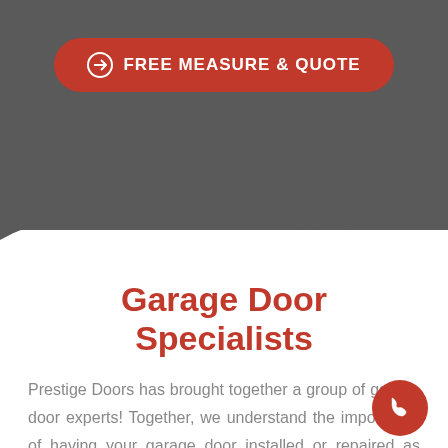[Figure (infographic): Dark grey rounded-top header section with a wave cutout at the bottom transitioning to white background]
FREE MEASURE & QUOTE
Garage Door Specialists
Prestige Doors has brought together a group of garage door experts! Together, we understand the importance of having your garage door installed or repaired as soon as possible.